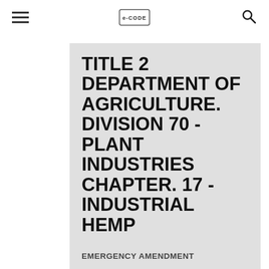≡  [Logo]  🔍
TITLE 2 DEPARTMENT OF AGRICULTURE. DIVISION 70 - PLANT INDUSTRIES CHAPTER. 17 - INDUSTRIAL HEMP
EMERGENCY AMENDMENT